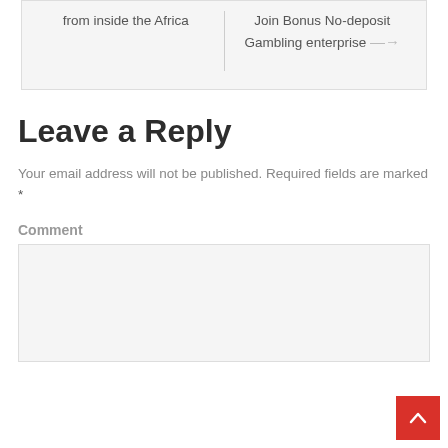from inside the Africa
Join Bonus No-deposit Gambling enterprise →
Leave a Reply
Your email address will not be published. Required fields are marked *
Comment